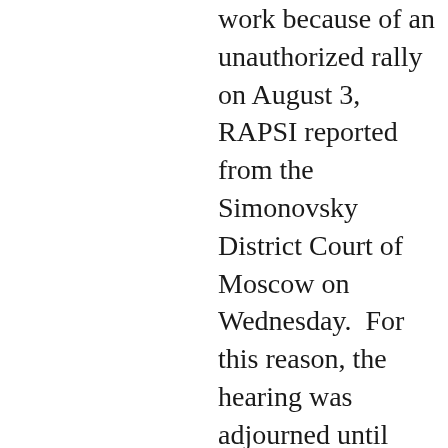work because of an unauthorized rally on August 3, RAPSI reported from the Simonovsky District Court of Moscow on Wednesday.  For this reason, the hearing was adjourned until February 17. The court granted time to the defendants to read the documents.  RAPSI,